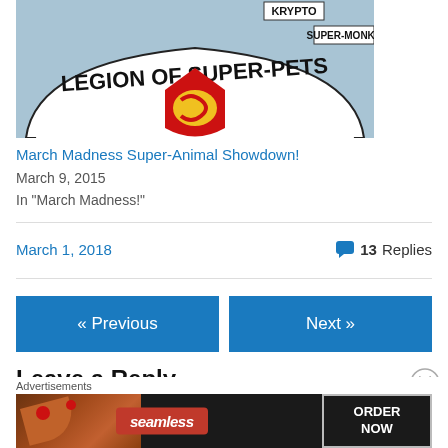[Figure (illustration): Comic book cover showing 'Legion of Super-Pets' banner with red Superman shield and yellow snake emblem. Labels show 'KRYPTO' and 'SUPER-MONKE' in upper area.]
March Madness Super-Animal Showdown!
March 9, 2015
In "March Madness!"
March 1, 2018
13 Replies
« Previous
Next »
Leave a Reply
Advertisements
[Figure (screenshot): Seamless food delivery advertisement banner with pizza image on left, Seamless brand name in red, and ORDER NOW button on right.]